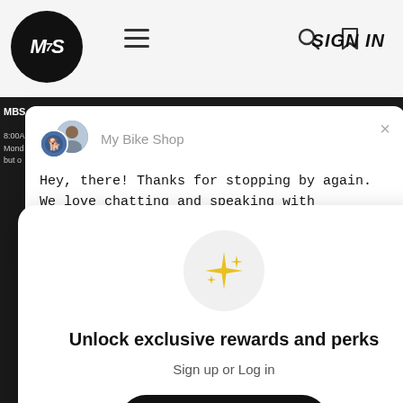[Figure (screenshot): Mobile website navigation bar with MBS logo circle, hamburger menu, search icon, bookmark icon, and SIGN IN text]
[Figure (screenshot): Chat popup from My Bike Shop with avatar images and message: Hey, there! Thanks for stopping by again. We love chatting and speaking with customers! Have you spoken with us yet? Chat us or call]
[Figure (infographic): Rewards popup modal with sparkle icon, title, sign up button, and sign in link]
Unlock exclusive rewards and perks
Sign up or Log in
Sign up
Already have an account? Sign in